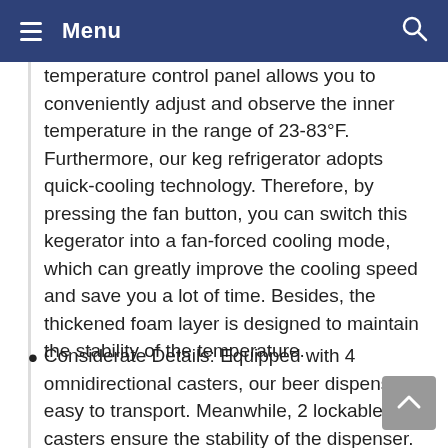Menu
temperature control panel allows you to conveniently adjust and observe the inner temperature in the range of 23-83°F. Furthermore, our keg refrigerator adopts quick-cooling technology. Therefore, by pressing the fan button, you can switch this kegerator into a fan-forced cooling mode, which can greatly improve the cooling speed and save you a lot of time. Besides, the thickened foam layer is designed to maintain the stability of the temperature.
Considerate Details: Equipped with 4 omnidirectional casters, our beer dispenser is easy to transport. Meanwhile, 2 lockable front casters ensure the stability of the dispenser. Featuring a